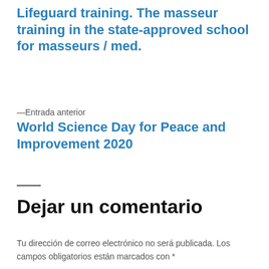Lifeguard training. The masseur training in the state-approved school for masseurs / med.
—Entrada anterior
World Science Day for Peace and Improvement 2020
Dejar un comentario
Tu dirección de correo electrónico no será publicada. Los campos obligatorios están marcados con *